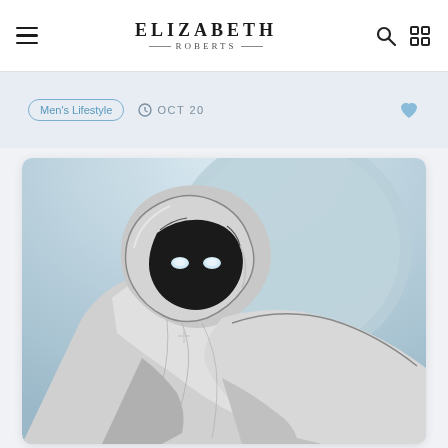ELIZABETH ROBERTS
Men's Lifestyle  OCT 20
[Figure (illustration): Comic book illustration of Moon Knight, a hooded figure in a white costume with a dark face mask showing glowing white eyes, posed dramatically against a light blue circular backdrop suggesting the moon]